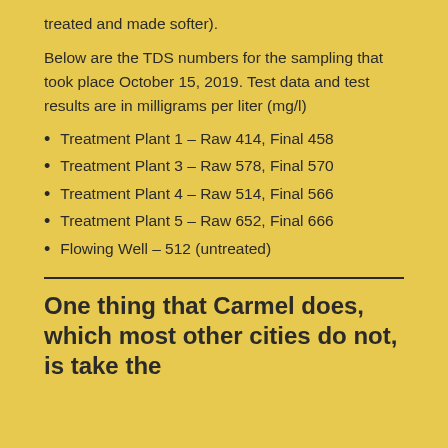treated and made softer).
Below are the TDS numbers for the sampling that took place October 15, 2019. Test data and test results are in milligrams per liter (mg/l)
Treatment Plant 1 – Raw 414, Final 458
Treatment Plant 3 – Raw 578, Final 570
Treatment Plant 4 – Raw 514, Final 566
Treatment Plant 5 – Raw 652, Final 666
Flowing Well – 512 (untreated)
One thing that Carmel does, which most other cities do not, is take the